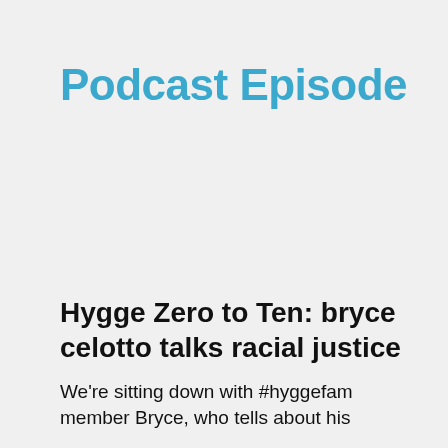Podcast Episode
Hygge Zero to Ten: bryce celotto talks racial justice
We're sitting down with #hyggefam member Bryce, who tells about his